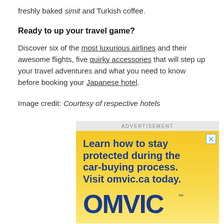freshly baked simit and Turkish coffee.
Ready to up your travel game?
Discover six of the most luxurious airlines and their awesome flights, five quirky accessories that will step up your travel adventures and what you need to know before booking your Japanese hotel.
Image credit: Courtesy of respective hotels
[Figure (other): Advertisement banner for OMVIC with text: Learn how to stay protected during the car-buying process. Visit omvic.ca today. OMVIC logo at bottom.]